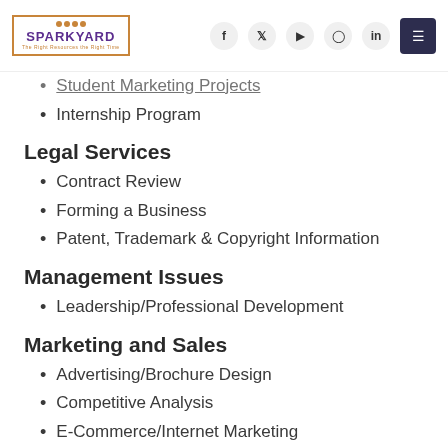SPARKYARD — navigation header with social icons
Student Marketing Projects (partial, cropped at top)
Internship Program
Legal Services
Contract Review
Forming a Business
Patent, Trademark & Copyright Information
Management Issues
Leadership/Professional Development
Marketing and Sales
Advertising/Brochure Design
Competitive Analysis
E-Commerce/Internet Marketing (partial, cropped at bottom)